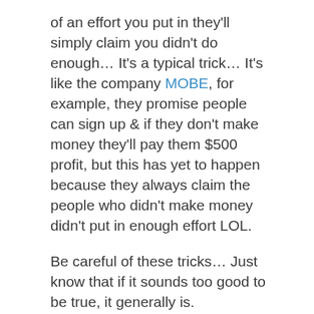of an effort you put in they'll simply claim you didn't do enough… It's a typical trick… It's like the company MOBE, for example, they promise people can sign up & if they don't make money they'll pay them $500 profit, but this has yet to happen because they always claim the people who didn't make money didn't put in enough effort LOL.
Be careful of these tricks… Just know that if it sounds too good to be true, it generally is.
Is Internet Careers Online a Scam?